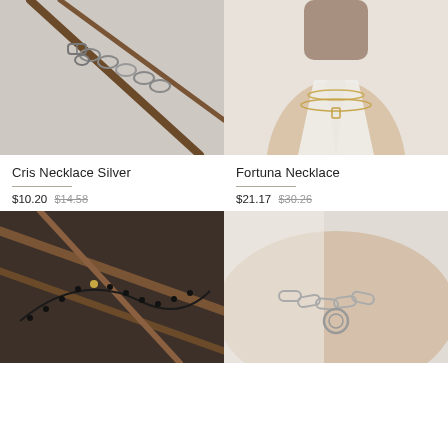[Figure (photo): Close-up of a silver chain necklace with toggle clasp on a light background with branches]
[Figure (photo): Woman wearing layered gold necklaces with white blouse, close-up of neck/chest area]
Cris Necklace Silver
$10.20 $14.58
Fortuna Necklace
$21.17 $30.26
[Figure (photo): Black beaded necklace with gold accent on dark brown branch background]
[Figure (photo): Close-up of silver chain necklace with circular clasp on skin]